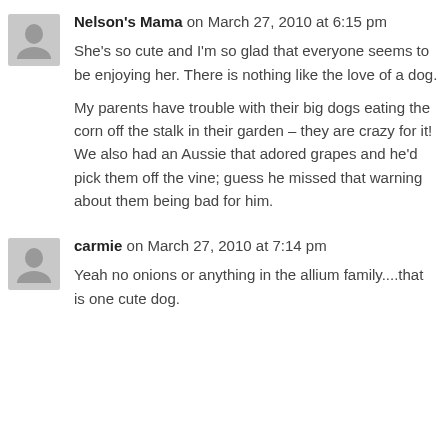Nelson's Mama on March 27, 2010 at 6:15 pm
She's so cute and I'm so glad that everyone seems to be enjoying her. There is nothing like the love of a dog.
My parents have trouble with their big dogs eating the corn off the stalk in their garden – they are crazy for it! We also had an Aussie that adored grapes and he'd pick them off the vine; guess he missed that warning about them being bad for him.
carmie on March 27, 2010 at 7:14 pm
Yeah no onions or anything in the allium family....that is one cute dog.